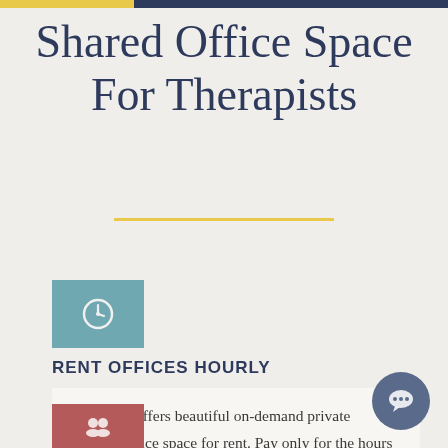Shared Office Space For Therapists
[Figure (other): Teal/blue square icon box with a clock icon inside]
RENT OFFICES HOURLY
Khospace offers beautiful on-demand private practice office space for rent. Pay only for the hours you use with our flexible pricing options
[Figure (other): Dark mauve square icon box with a group/people icon inside]
[Figure (other): Chat bubble circular button in dark blue-gray]